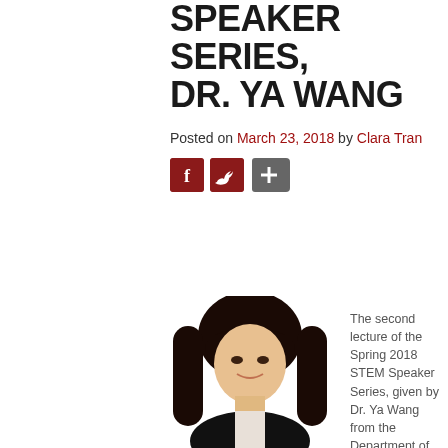SPEAKER SERIES, DR. YA WANG
Posted on March 23, 2018 by Clara Tran
[Figure (other): Social media sharing buttons: Facebook, Twitter, and a plus/share button]
[Figure (photo): Headshot photo of Dr. Ya Wang, a woman with dark hair and bangs, wearing a dark blazer over a white blouse, smiling]
The second lecture of the Spring 2018 STEM Speaker Series, given by Dr. Ya Wang from the Department of Mechan